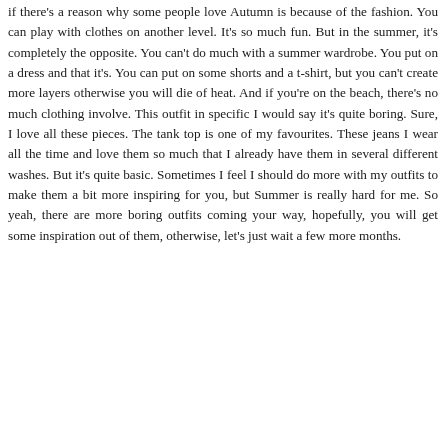if there's a reason why some people love Autumn is because of the fashion. You can play with clothes on another level. It's so much fun. But in the summer, it's completely the opposite. You can't do much with a summer wardrobe. You put on a dress and that it's. You can put on some shorts and a t-shirt, but you can't create more layers otherwise you will die of heat. And if you're on the beach, there's no much clothing involve. This outfit in specific I would say it's quite boring. Sure, I love all these pieces. The tank top is one of my favourites. These jeans I wear all the time and love them so much that I already have them in several different washes. But it's quite basic. Sometimes I feel I should do more with my outfits to make them a bit more inspiring for you, but Summer is really hard for me. So yeah, there are more boring outfits coming your way, hopefully, you will get some inspiration out of them, otherwise, let's just wait a few more months.